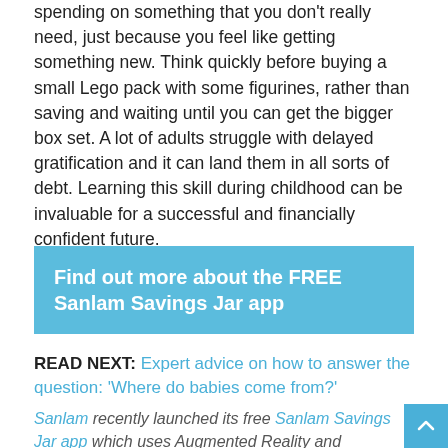spending on something that you don't really need, just because you feel like getting something new. Think quickly before buying a small Lego pack with some figurines, rather than saving and waiting until you can get the bigger box set. A lot of adults struggle with delayed gratification and it can land them in all sorts of debt. Learning this skill during childhood can be invaluable for a successful and financially confident future.
Find out more about the FREE Sanlam Savings Jar app
READ NEXT: Expert advice on how to answer the question: 'Where do babies come from?'
Sanlam recently launched its free Sanlam Savings Jar app which uses Augmented Reality and animation – in